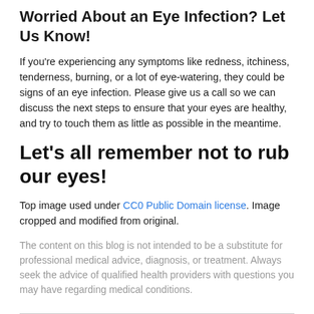Worried About an Eye Infection? Let Us Know!
If you're experiencing any symptoms like redness, itchiness, tenderness, burning, or a lot of eye-watering, they could be signs of an eye infection. Please give us a call so we can discuss the next steps to ensure that your eyes are healthy, and try to touch them as little as possible in the meantime.
Let's all remember not to rub our eyes!
Top image used under CC0 Public Domain license. Image cropped and modified from original.
The content on this blog is not intended to be a substitute for professional medical advice, diagnosis, or treatment. Always seek the advice of qualified health providers with questions you may have regarding medical conditions.